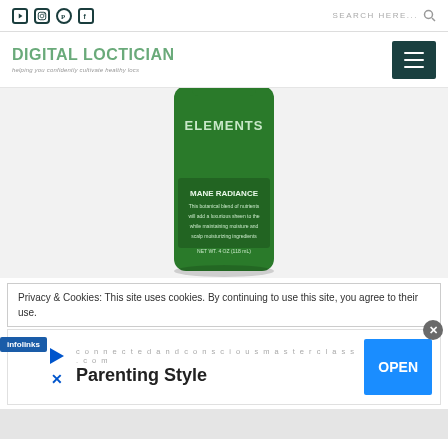Social icons: YouTube, Instagram, Pinterest, Facebook | SEARCH HERE...
[Figure (logo): Digital Loctician logo with tagline 'helping you confidently cultivate healthy locs']
[Figure (photo): Green bottle of hair product labeled ELEMENTS - MANE RADIANCE, a botanical blend of nutrients]
Privacy & Cookies: This site uses cookies. By continuing to use this site, you agree to their use.
[Figure (infographic): Infolinks advertisement banner for connectedandconsciousmasterclass.com - Parenting Style with OPEN button]